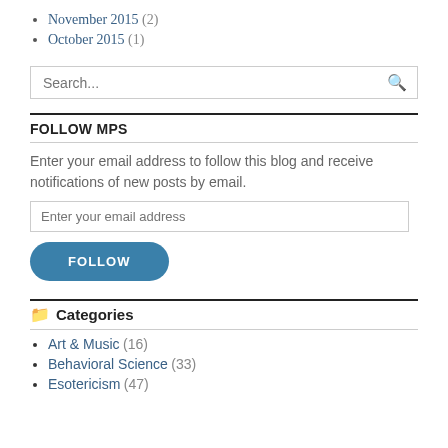November 2015 (2)
October 2015 (1)
Search...
FOLLOW MPS
Enter your email address to follow this blog and receive notifications of new posts by email.
Enter your email address
FOLLOW
Categories
Art & Music (16)
Behavioral Science (33)
Esotericism (47)